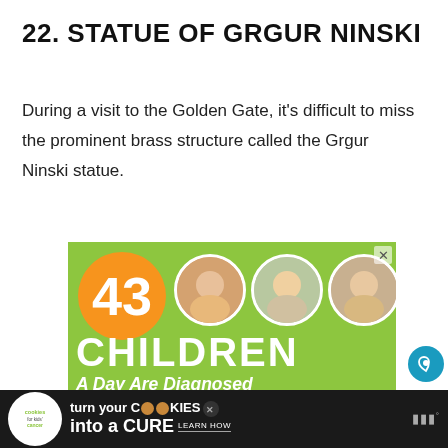22. STATUE OF GRGUR NINSKI
During a visit to the Golden Gate, it's difficult to miss the prominent brass structure called the Grgur Ninski statue.
[Figure (other): Advertisement for Cookies for Kids' Cancer. Green background with orange circle showing '43', three children's photos in circles, text '43 CHILDREN A Day Are Diagnosed With Cancer in the U.S.' and cookies branding.]
[Figure (other): Bottom banner ad for Cookies for Kids' Cancer: 'turn your COOKIES into a CURE LEARN HOW' on dark background with logo.]